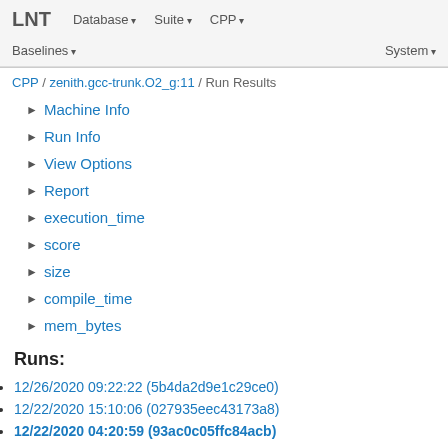LNT  Database ▾  Suite ▾  CPP ▾  Baselines ▾  System ▾
CPP / zenith.gcc-trunk.O2_g:11 / Run Results
▶ Machine Info
▶ Run Info
▶ View Options
▶ Report
▶ execution_time
▶ score
▶ size
▶ compile_time
▶ mem_bytes
Runs:
12/26/2020 09:22:22 (5b4da2d9e1c29ce0)
12/22/2020 15:10:06 (027935eec43173a8)
12/22/2020 04:20:59 (93ac0c05ffc84acb)